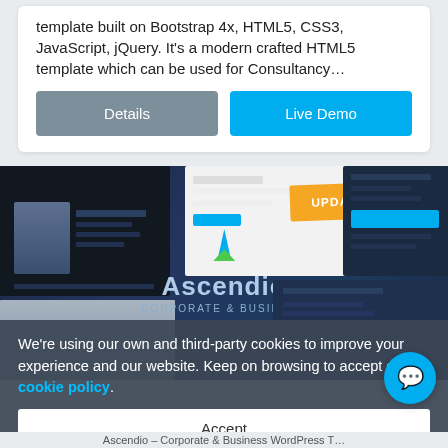template built on Bootstrap 4x, HTML5, CSS3, JavaScript, jQuery. It's a modern crafted HTML5 template which can be used for Consultancy...
Details
Live Demo
[Figure (screenshot): Screenshot collage showing Ascendio Corporate & Business WordPress Theme with dark sidebar layout, white UI, orange UPDATE banner, and heart icon]
We're using our own and third-party cookies to improve your experience and our website. Keep on browsing to accept our cookie policy.
Accept
Ascendio – Corporate & Business WordPress T...